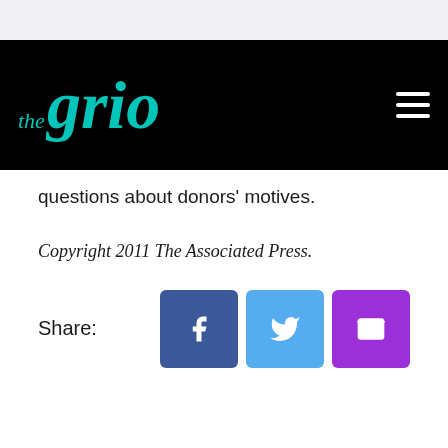theGrio
questions about donors' motives.
Copyright 2011 The Associated Press.
Share: